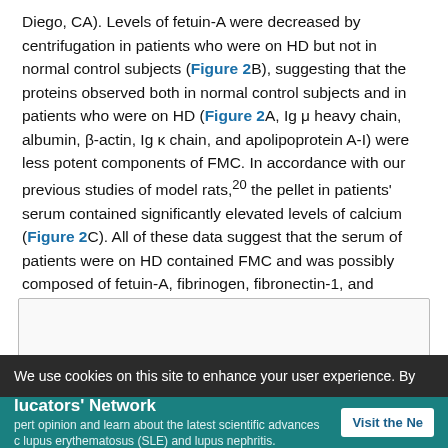Diego, CA). Levels of fetuin-A were decreased by centrifugation in patients who were on HD but not in normal control subjects (Figure 2B), suggesting that the proteins observed both in normal control subjects and in patients who were on HD (Figure 2A, Ig μ heavy chain, albumin, β-actin, Ig κ chain, and apolipoprotein A-I) were less potent components of FMC. In accordance with our previous studies of model rats,20 the pellet in patients' serum contained significantly elevated levels of calcium (Figure 2C). All of these data suggest that the serum of patients were on HD contained FMC and was possibly composed of fetuin-A, fibrinogen, fibronectin-1, and calcium.
[Figure (other): Partial figure box visible at the bottom of the text content area]
We use cookies on this site to enhance your user experience. By
lucators' Network — Expert opinion and learn about the latest scientific advances in lupus erythematosus (SLE) and lupus nephritis.